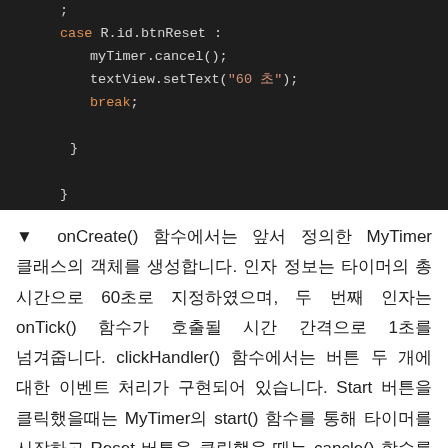[Figure (screenshot): Dark-themed code editor screenshot showing Android Java code with case R.id.btnReset block containing myTimer.cancel(), textView.setText("60 초"), break; and closing braces]
▼ onCreate() 함수에서는 앞서 정의한 MyTimer 클래스의 객체를 생성합니다. 인자 정보는 타이머의 총 시간으로 60초로 지정하였으며, 두 번째 인자는 onTick() 함수가 호출될 시간 간격으로 1초를 넘겨줍니다. clickHandler() 함수에서는 버튼 두 개에 대한 이벤트 처리가 구현되어 있습니다. Start 버튼을 클릭했을때는 MyTimer의 start() 함수를 통해 타이머를 시작하고 Reset 버튼을 클릭했을 때는 cancle() 함수를 통해 타이머를 취소시킵니다.